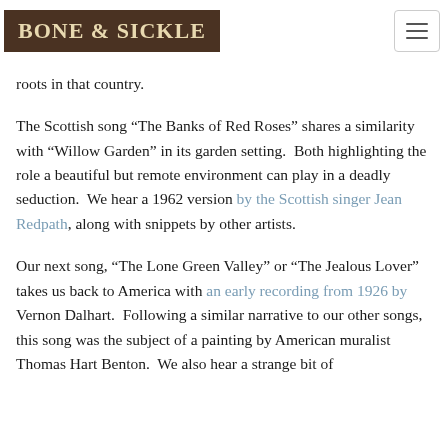BONE & SICKLE
roots in that country.
The Scottish song “The Banks of Red Roses” shares a similarity with “Willow Garden” in its garden setting.  Both highlighting the role a beautiful but remote environment can play in a deadly seduction.  We hear a 1962 version by the Scottish singer Jean Redpath, along with snippets by other artists.
Our next song, “The Lone Green Valley” or “The Jealous Lover” takes us back to America with an early recording from 1926 by Vernon Dalhart.  Following a similar narrative to our other songs, this song was the subject of a painting by American muralist Thomas Hart Benton.  We also hear a strange bit of